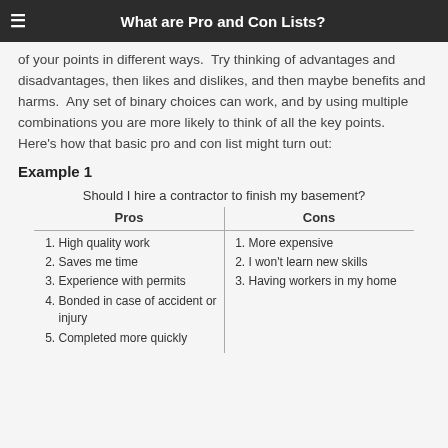What are Pro and Con Lists?
of your points in different ways.  Try thinking of advantages and disadvantages, then likes and dislikes, and then maybe benefits and harms.  Any set of binary choices can work, and by using multiple combinations you are more likely to think of all the key points.  Here's how that basic pro and con list might turn out:
Example 1
Should I hire a contractor to finish my basement?
| Pros | Cons |
| --- | --- |
| 1. High quality work
2. Saves me time
3. Experience with permits
4. Bonded in case of accident or injury
5. Completed more quickly | 1. More expensive
2. I won't learn new skills
3. Having workers in my home |